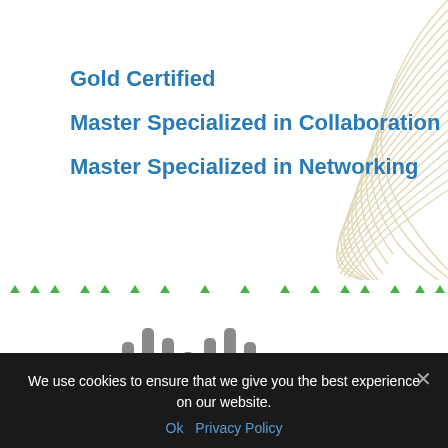[Figure (illustration): Decorative curved lines swirl pattern in beige/tan color, positioned in the top-right corner of the page]
Gold Certified
Master Specialized in Collaboration
Master Specialized in Networking
[Figure (logo): Cisco logo in gray - signal bars icon above the word CISCO in gray letters]
[Figure (other): Row of small green dots/triangles forming a decorative border]
We use cookies to ensure that we give you the best experience on our website.
Ok  Privacy Policy